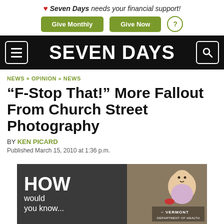❤ Seven Days needs your financial support! Give Monthly  Give Now  ?
[Figure (logo): Seven Days newspaper logo on black navigation bar with hamburger menu icon on left and search icon on right]
NEWS + OPINION » NEWS
“F-Stop That!” More Fallout From Church Street Photography
BY KEN PICARD
Published March 15, 2010 at 1:36 p.m.
[Figure (photo): Vermont Department of Health advertisement showing a baby with text 'HOW would you know...']